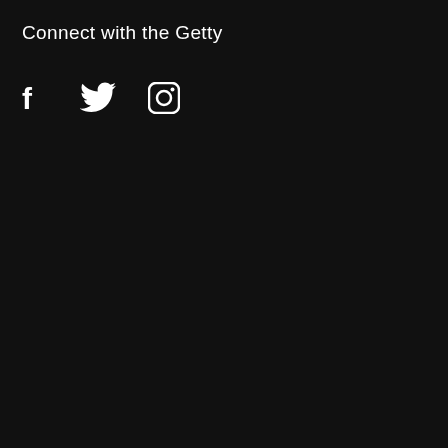Connect with the Getty
[Figure (illustration): Three social media icons in white on black background: Facebook (f), Twitter (bird), Instagram (camera)]